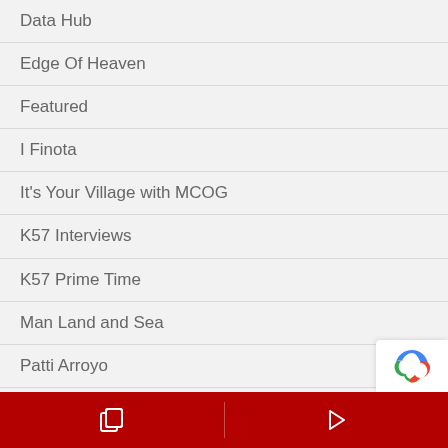Data Hub
Edge Of Heaven
Featured
I Finota
It's Your Village with MCOG
K57 Interviews
K57 Prime Time
Man Land and Sea
Patti Arroyo
Pauly Suba
Podcast
Press Release
Programman Chamorro
The Dish with AAUW